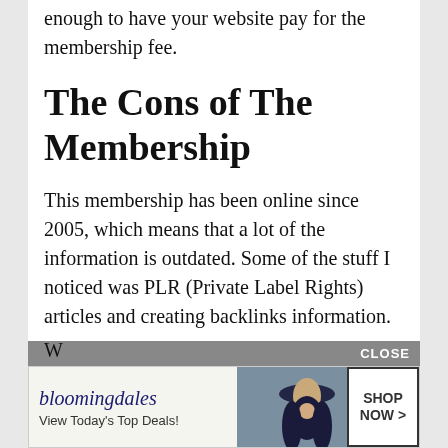enough to have your website pay for the membership fee.
The Cons of The Membership
This membership has been online since 2005, which means that a lot of the information is outdated. Some of the stuff I noticed was PLR (Private Label Rights) articles and creating backlinks information.
Back in the day PLR content was huge, today, it is NOT good and you never want to use it for your website.
[Figure (other): Bloomingdales advertisement banner with CLOSE button. Shows bloomingdales logo, 'View Today's Top Deals!' tagline, a woman in a hat, and 'SHOP NOW >' button.]